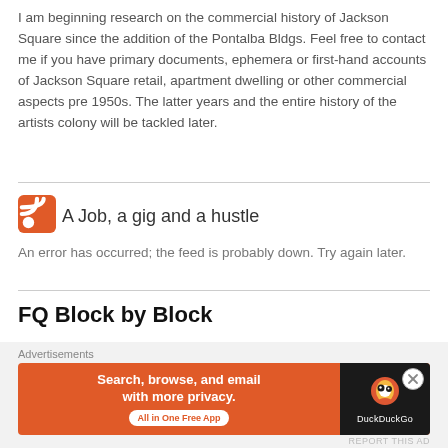I am beginning research on the commercial history of Jackson Square since the addition of the Pontalba Bldgs. Feel free to contact me if you have primary documents, ephemera or first-hand accounts of Jackson Square retail, apartment dwelling or other commercial aspects pre 1950s. The latter years and the entire history of the artists colony will be tackled later.
A Job, a gig and a hustle
An error has occurred; the feed is probably down. Try again later.
FQ Block by Block
RSS - Posts
[Figure (screenshot): DuckDuckGo advertisement banner: orange background with text 'Search, browse, and email with more privacy. All in One Free App' and DuckDuckGo logo on dark right panel.]